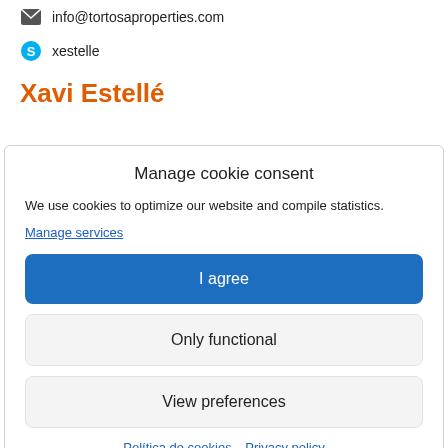info@tortosaproperties.com
xestelle
Xavi Estellé
Manage cookie consent
We use cookies to optimize our website and compile statistics.
Manage services
I agree
Only functional
View preferences
Política de cookies  Privacy policy